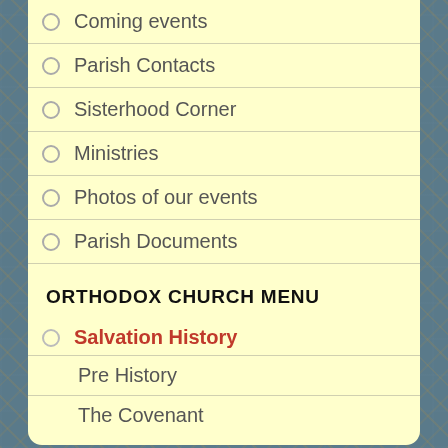Coming events
Parish Contacts
Sisterhood Corner
Ministries
Photos of our events
Parish Documents
Search our site
ORTHODOX CHURCH MENU
Salvation History
Pre History
The Covenant